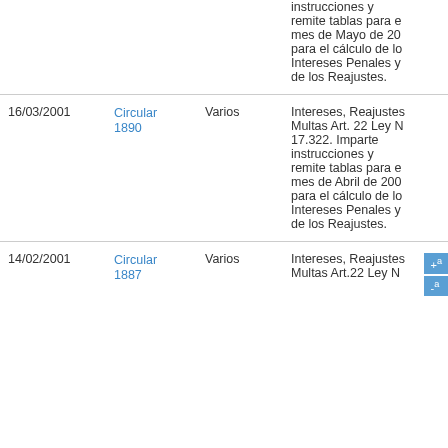| Fecha | Circular | Materia | Descripción |
| --- | --- | --- | --- |
|  |  |  | instrucciones y remite tablas para el mes de Mayo de 200... para el cálculo de los Intereses Penales y de los Reajustes. |
| 16/03/2001 | Circular 1890 | Varios | Intereses, Reajustes y Multas Art. 22 Ley N 17.322. Imparte instrucciones y remite tablas para el mes de Abril de 200... para el cálculo de los Intereses Penales y de los Reajustes. |
| 14/02/2001 | Circular 1887 | Varios | Intereses, Reajustes y Multas Art.22 Ley N... |